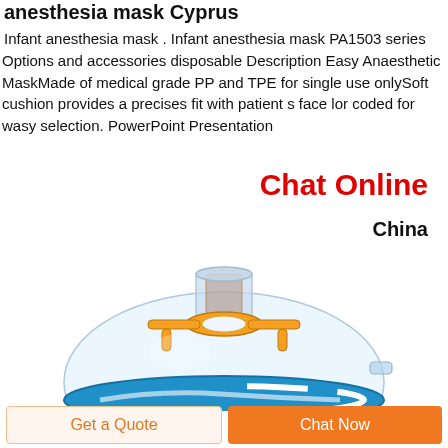anesthesia mask Cyprus
Infant anesthesia mask . Infant anesthesia mask PA1503 series Options and accessories disposable Description Easy Anaesthetic MaskMade of medical grade PP and TPE for single use onlySoft cushion provides a precises fit with patient s face lor coded for wasy selection. PowerPoint Presentation
Chat Online
China
[Figure (photo): Infant anesthesia mask with clear dome body, orange connector bracket, blue cushion rim, and a small side port, shown from above on white background.]
Get a Quote
Chat Now